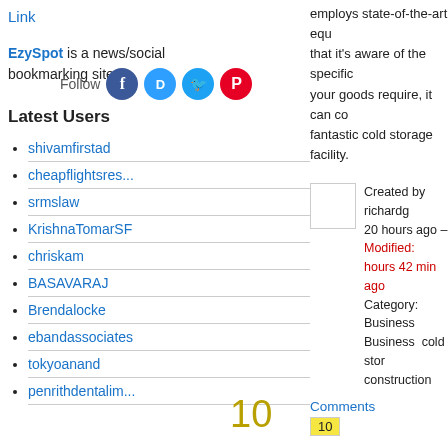Link
EzySpot is a news/social bookmarking site.
Latest Users
shivamfirstad
cheapflightsres...
srmslaw
KrishnaTomarSF
chriskam
BASAVARAJ
Brendalocke
ebandassociates
tokyoanand
penrithdentalim...
employs state-of-the-art equ that it’s aware of the specific your goods require, it can co fantastic cold storage facility.
Created by richardg 20 hours ago – Modified: hours 42 min ago Category: Business Business cold storage construction
Comments
10
10
Orion FR Coverall
https://www.tarasafe.com – Orion Coverall is a UL Classified pr 250 Gsm (7.3Oz) FR Cotton providing 9.8 cal protection. available in FR Treated Cotto and Modacrylic with